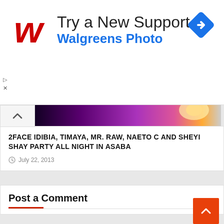[Figure (screenshot): Walgreens Photo advertisement banner with red W logo, text 'Try a New Support' and 'Walgreens Photo', blue navigation diamond icon on the right, and ad controls (play/close) on the left]
[Figure (photo): Concert photo showing performers on stage with colorful purple and pink stage lighting]
2FACE IDIBIA, TIMAYA, MR. RAW, NAETO C AND SHEYI SHAY PARTY ALL NIGHT IN ASABA
July 22, 2013
Post a Comment